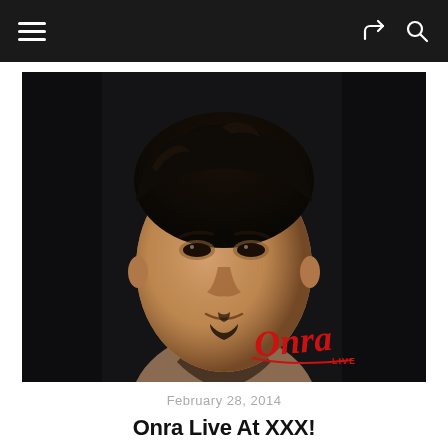Navigation bar with hamburger menu, share icon, and search icon
[Figure (photo): Close-up portrait photo of a young Asian man with curly dark hair and a goatee, wearing a brown jacket, looking directly at camera against a dark background. Red cursive 'Onra LIVE' logo in lower right corner of the image.]
February 28, 2014
Onra Live At XXX!